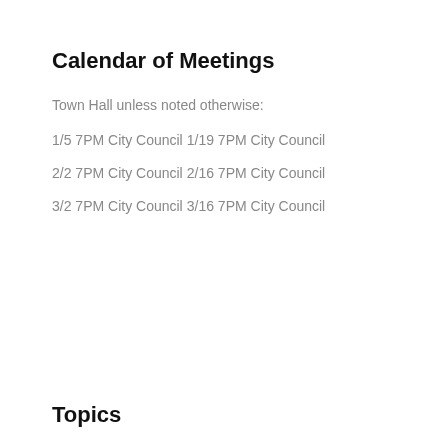Calendar of Meetings
Town Hall unless noted otherwise:
1/5 7PM City Council
1/19 7PM City Council
2/2 7PM City Council
2/16 7PM City Council
3/2 7PM City Council
3/16 7PM City Council
Topics